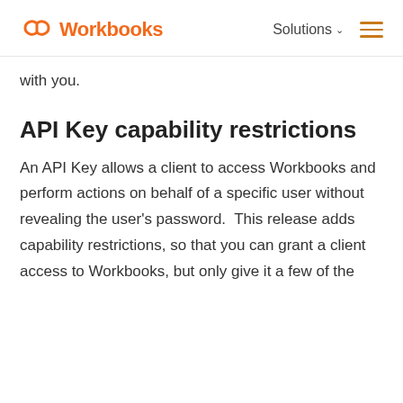Workbooks | Solutions
with you.
API Key capability restrictions
An API Key allows a client to access Workbooks and perform actions on behalf of a specific user without revealing the user's password. This release adds capability restrictions, so that you can grant a client access to Workbooks, but only give it a few of the